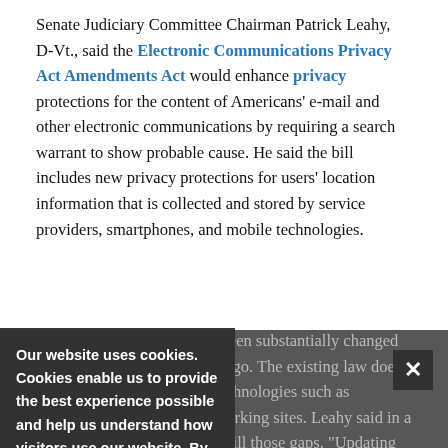Senate Judiciary Committee Chairman Patrick Leahy, D-Vt., said the Electronic Communications Privacy Act Amendments Act would enhance privacy protections for the content of Americans' e-mail and other electronic communications by requiring a search warrant to show probable cause. He said the bill includes new privacy protections for users' location information that is collected and stored by service providers, smartphones, and mobile technologies.
ECPA, as it's known, hasn't been substantially changed since its enactment 25 years ago. The existing law does not directly address newer technologies such as smartphones and social networking sites. Leahy said in a statement that his bill would fill those gaps. "Updating the law to reflect the realities of our time is essential to ensuring that our federal privacy laws keep pace with new technologies and the new threats to our
Our website uses cookies. Cookies enable us to provide the best experience possible and help us understand how visitors use our website. By browsing govinfosecurity.com, you agree to our use of cookies.